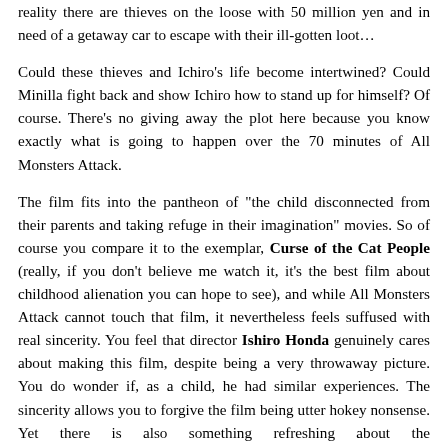reality there are thieves on the loose with 50 million yen and in need of a getaway car to escape with their ill-gotten loot…
Could these thieves and Ichiro's life become intertwined? Could Minilla fight back and show Ichiro how to stand up for himself? Of course. There's no giving away the plot here because you know exactly what is going to happen over the 70 minutes of All Monsters Attack.
The film fits into the pantheon of "the child disconnected from their parents and taking refuge in their imagination" movies. So of course you compare it to the exemplar, Curse of the Cat People (really, if you don't believe me watch it, it's the best film about childhood alienation you can hope to see), and while All Monsters Attack cannot touch that film, it nevertheless feels suffused with real sincerity. You feel that director Ishiro Honda genuinely cares about making this film, despite being a very throwaway picture. You do wonder if, as a child, he had similar experiences. The sincerity allows you to forgive the film being utter hokey nonsense. Yet there is also something refreshing about the straightforwardness of the story and characters after the narrative convolutions of films like Destroy All Monsters. And as always, Honda does all he possibly can with what very limited means he has available, whether that is the transitions to Ichiro's imagination where he mixes negative photography creating a psychedelic shift between the imagined realm and reality, or just Honda's sustained ability to know where to put the camera; again Honda's presence behind the camera means he draws all he can from the meagre source material. Even towards the end